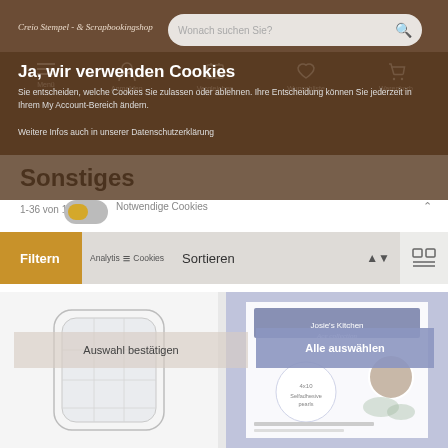[Figure (screenshot): Website header with brown background, logo text 'Creio Stempel & Scrapbookingshop', search bar 'Wonach suchen Sie?', and navigation icons for Menü, Anmelden, Vergleichen, Wunschliste, Warenkorb]
Ja, wir verwenden Cookies
Sie entscheiden, welche Cookies Sie zulassen oder ablehnen. Ihre Entscheidung können Sie jederzeit in Ihrem My Account-Bereich ändern.
Weitere Infos auch in unserer Datenschutzerklärung
Sonstiges
1-36 von 165
Notwendige Cookies
Filtern
Analytis≡≡ Cookies
Sortieren
Auswahl bestätigen
Alle auswählen
[Figure (screenshot): Product thumbnail showing a transparent stamp block]
[Figure (screenshot): Product thumbnail with blue/lavender background, showing Josie's Kitchen Ace Collection product]